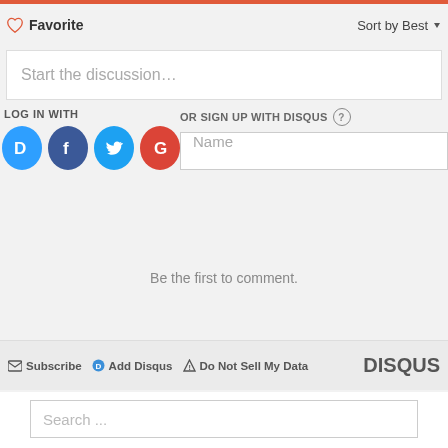Favorite
Sort by Best
Start the discussion…
LOG IN WITH
OR SIGN UP WITH DISQUS
Name
Be the first to comment.
Subscribe   Add Disqus   Do Not Sell My Data   DISQUS
Search ...